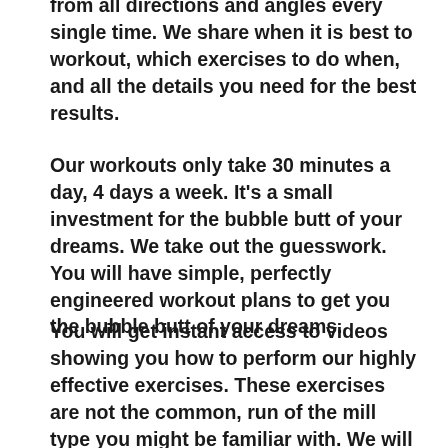from all directions and angles every single time. We share when it is best to workout, which exercises to do when, and all the details you need for the best results.
Our workouts only take 30 minutes a day, 4 days a week. It's a small investment for the bubble butt of your dreams. We take out the guesswork. You will have simple, perfectly engineered workout plans to get you the bubble butt of your dreams.
You will get instant access to videos showing you how to perform our highly effective exercises. These exercises are not the common, run of the mill type you might be familiar with. We will help you master these moves so you can get the bubble butt of your dreams.
You will receive thorough, proven nutrition plans that you can customize. We will help you identify the best foods for your new exercise plan, as well as what to eat